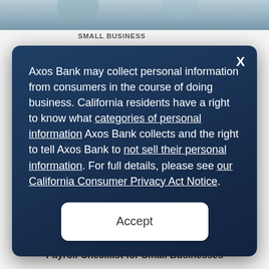[Figure (photo): Cropped photo of people, top portion visible — appears to be a business or lifestyle image]
SMALL BUSINESS
Axos Bank may collect personal information from consumers in the course of doing business. California residents have a right to know what categories of personal information Axos Bank collects and the right to tell Axos Bank to not sell their personal information. For full details, please see our California Consumer Privacy Act Notice.
Accept
Payroll Checklist for Small Businesses